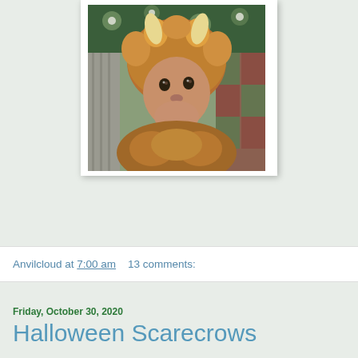[Figure (photo): A baby dressed in a brown lion Halloween costume with a fuzzy mane hood with horn-like ears, looking slightly upward with mouth open, lying against a patterned fabric background.]
Anvilcloud at 7:00 am    13 comments:
Friday, October 30, 2020
Halloween Scarecrows